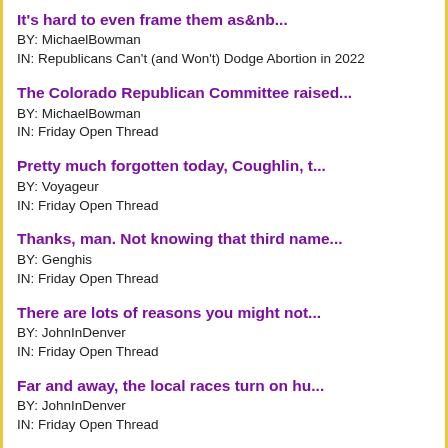It's hard to even frame them as&nb...
BY: MichaelBowman
IN: Republicans Can't (and Won't) Dodge Abortion in 2022
The Colorado Republican Committee raised...
BY: MichaelBowman
IN: Friday Open Thread
Pretty much forgotten today, Coughlin, t...
BY: Voyageur
IN: Friday Open Thread
Thanks, man. Not knowing that third name...
BY: Genghis
IN: Friday Open Thread
There are lots of reasons you might not...
BY: JohnInDenver
IN: Friday Open Thread
Far and away, the local races turn on hu...
BY: JohnInDenver
IN: Friday Open Thread
Should we start a countdown clock until&...